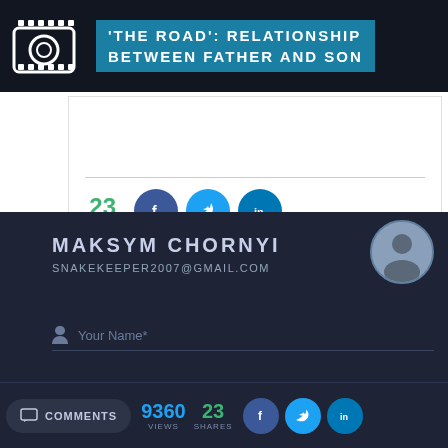'THE ROAD': RELATIONSHIP BETWEEN FATHER AND SON
23 SHARES
MAKSYM CHORNYI
SNAKEKEEPER2007@GMAIL.COM
Your Name*
Your Email*
COMMENTS  9360 VIEWS  23 SHARES